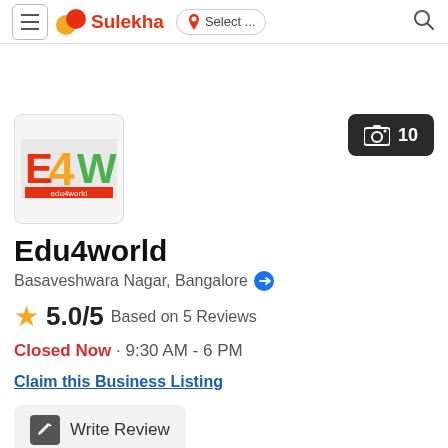Sulekha · Select ... (location selector) · Search
[Figure (logo): Edu4world company logo showing E4W text with red and green colors]
[Figure (other): Camera icon button showing 10 photos]
Edu4world
Basaveshwara Nagar, Bangalore
5.0/5 Based on 5 Reviews
Closed Now · 9:30 AM - 6 PM
Claim this Business Listing
Write Review